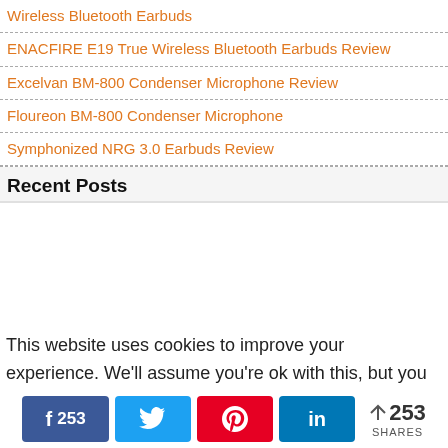Wireless Bluetooth Earbuds
ENACFIRE E19 True Wireless Bluetooth Earbuds Review
Excelvan BM-800 Condenser Microphone Review
Floureon BM-800 Condenser Microphone
Symphonized NRG 3.0 Earbuds Review
Recent Posts
This website uses cookies to improve your experience. We'll assume you're ok with this, but you
f 253  [Twitter]  [Pinterest]  in  < 253 SHARES